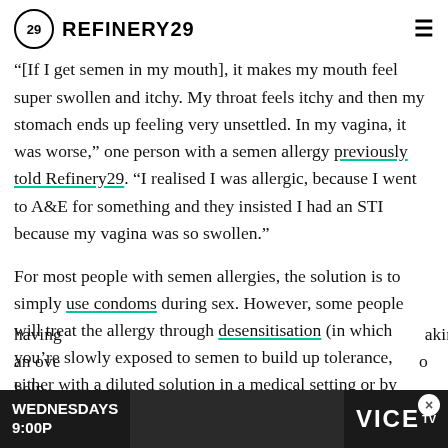REFINERY29
"[If I get semen in my mouth], it makes my mouth feel super swollen and itchy. My throat feels itchy and then my stomach ends up feeling very unsettled. In my vagina, it was worse," one person with a semen allergy previously told Refinery29. "I realised I was allergic, because I went to A&E for something and they insisted I had an STI because my vagina was so swollen."
For most people with semen allergies, the solution is to simply use condoms during sex. However, some people will treat the allergy through desensitisation (in which you’re slowly exposed to semen to build up tolerance, either with a diluted solution in a medical setting or by having [an overseen programme] to help
[Figure (screenshot): VICE TV advertisement banner showing WEDNESDAYS 9:00P text on dark background with VICE TV logo]